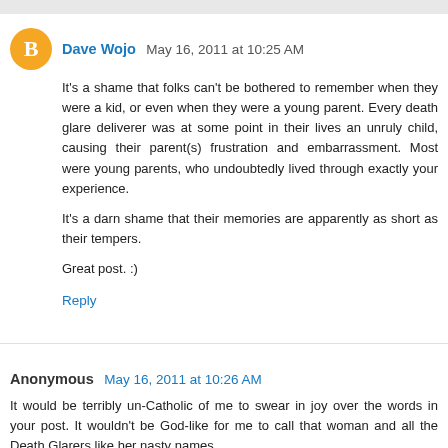Dave Wojo  May 16, 2011 at 10:25 AM
It's a shame that folks can't be bothered to remember when they were a kid, or even when they were a young parent. Every death glare deliverer was at some point in their lives an unruly child, causing their parent(s) frustration and embarrassment. Most were young parents, who undoubtedly lived through exactly your experience.

It's a darn shame that their memories are apparently as short as their tempers.

Great post. :)
Reply
Anonymous  May 16, 2011 at 10:26 AM
It would be terribly un-Catholic of me to swear in joy over the words in your post. It wouldn't be God-like for me to call that woman and all the Death Glarers like her nasty names...